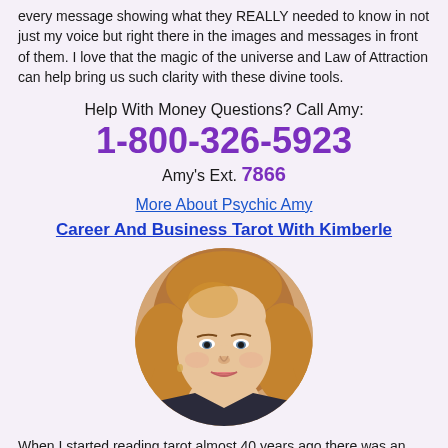every message showing what they REALLY needed to know in not just my voice but right there in the images and messages in front of them. I love that the magic of the universe and Law of Attraction can help bring us such clarity with these divine tools.
Help With Money Questions? Call Amy:
1-800-326-5923
Amy's Ext. 7866
More About Psychic Amy
Career And Business Tarot With Kimberle
[Figure (photo): Portrait photo of a woman with shoulder-length blonde/auburn hair wearing a dark jacket, circular crop]
When I started reading tarot almost 40 years ago there was an